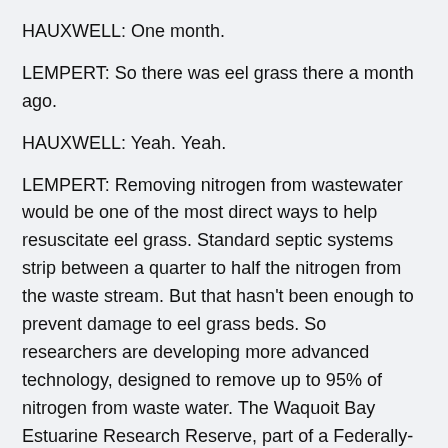HAUXWELL: One month.
LEMPERT: So there was eel grass there a month ago.
HAUXWELL: Yeah. Yeah.
LEMPERT: Removing nitrogen from wastewater would be one of the most direct ways to help resuscitate eel grass. Standard septic systems strip between a quarter to half the nitrogen from the waste stream. But that hasn't been enough to prevent damage to eel grass beds. So researchers are developing more advanced technology, designed to remove up to 95% of nitrogen from waste water. The Waquoit Bay Estuarine Research Reserve, part of a Federally-funded group of research centers, is testing out these alternative septic systems.
(A wind chime sounds)
LEMPERT: One of those test sites is across the street.